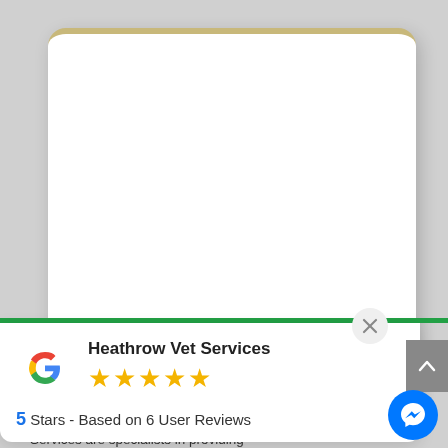[Figure (screenshot): White card with rounded corners and tan/gold top border, representing a book or document widget on a grey background]
[Figure (screenshot): Google review popup with Google G logo, business name Heathrow Vet Services, 5 gold stars, rating text '5 Stars - Based on 6 User Reviews', green progress bar at top, and close X button]
Heathrow Vet Services
5 Stars - Based on 6 User Reviews
but need not be with the right help. Heathrow Veterinary Services are specialists in providing